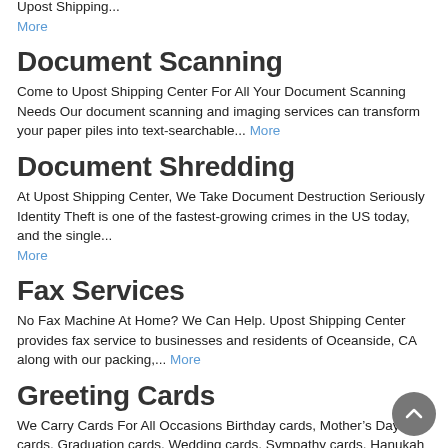Offering The Next Generation of Fingerprint Technology The days of “ink on paper” fingerprinting are quickly going the way of snail mail. Upost Shipping... More
Document Scanning
Come to Upost Shipping Center For All Your Document Scanning Needs Our document scanning and imaging services can transform your paper piles into text-searchable... More
Document Shredding
At Upost Shipping Center, We Take Document Destruction Seriously Identity Theft is one of the fastest-growing crimes in the US today, and the single... More
Fax Services
No Fax Machine At Home? We Can Help. Upost Shipping Center provides fax service to businesses and residents of Oceanside, CA along with our packing,... More
Greeting Cards
We Carry Cards For All Occasions Birthday cards, Mother’s Day cards, Graduation cards, Wedding cards, Sympathy cards, Hanukah cards, Christmas cards...